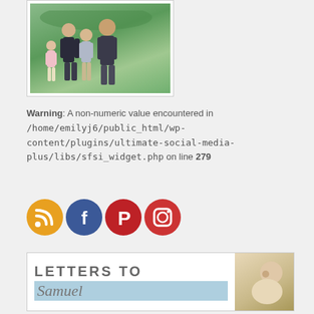[Figure (photo): Family photo showing adults and children standing together outdoors with green foliage background]
Warning: A non-numeric value encountered in /home/emilyj6/public_html/wp-content/plugins/ultimate-social-media-plus/libs/sfsi_widget.php on line 279
[Figure (infographic): Four social media icons: RSS (orange), Facebook (blue), Pinterest (red), Instagram (red-orange)]
[Figure (illustration): Letters to Samuel blog banner with text and baby photo]